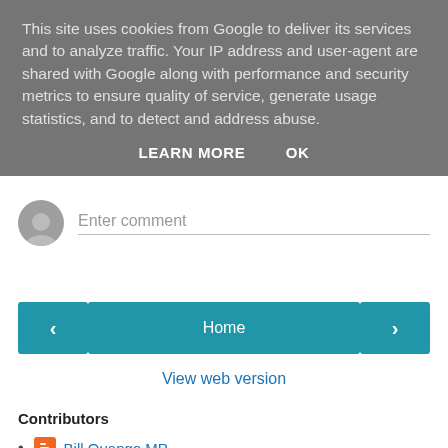This site uses cookies from Google to deliver its services and to analyze traffic. Your IP address and user-agent are shared with Google along with performance and security metrics to ensure quality of service, generate usage statistics, and to detect and address abuse.
LEARN MORE   OK
Enter comment
[Figure (other): Navigation buttons: left arrow, Home, right arrow]
View web version
Contributors
Bill Quango MP
CityUnslicker
Nick Drew